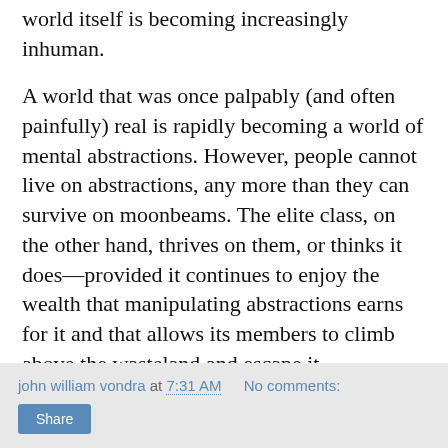world itself is becoming increasingly inhuman.
A world that was once palpably (and often painfully) real is rapidly becoming a world of mental abstractions. However, people cannot live on abstractions, any more than they can survive on moonbeams. The elite class, on the other hand, thrives on them, or thinks it does—provided it continues to enjoy the wealth that manipulating abstractions earns for it and that allows its members to climb above the wasteland and escape it.
Image: The Scapegoat by William Holman Hunt
john william vondra at 7:31 AM   No comments:   Share